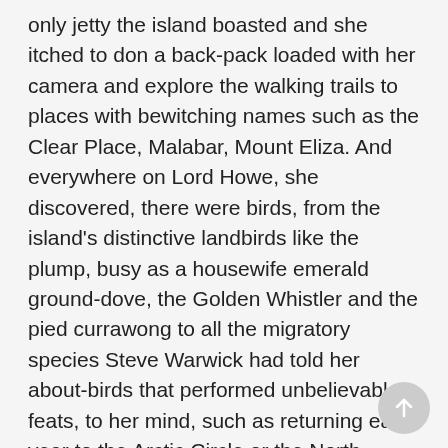only jetty the island boasted and she itched to don a back-pack loaded with her camera and explore the walking trails to places with bewitching names such as the Clear Place, Malabar, Mount Eliza. And everywhere on Lord Howe, she discovered, there were birds, from the island's distinctive landbirds like the plump, busy as a housewife emerald ground-dove, the Golden Whistler and the pied currawong to all the migratory species Steve Warwick had told her about-birds that performed unbelievable feats, to her mind, such as returning each year to the Arctic Circle or the North Pacific.
Another thing he'd been right about was the bicycles, and not only that, but the